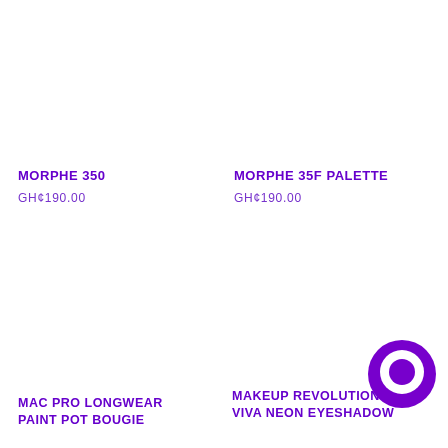MORPHE 350
GH¢190.00
MORPHE 35F PALETTE
GH¢190.00
MAC PRO LONGWEAR PAINT POT BOUGIE
MAKEUP REVOLUTION VIVA NEON EYESHADOW